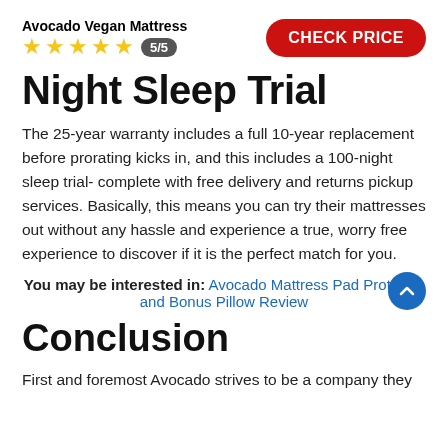Avocado Vegan Mattress
★★★★★ 5/5
CHECK PRICE
Night Sleep Trial
The 25-year warranty includes a full 10-year replacement before prorating kicks in, and this includes a 100-night sleep trial- complete with free delivery and returns pickup services. Basically, this means you can try their mattresses out without any hassle and experience a true, worry free experience to discover if it is the perfect match for you.
You may be interested in: Avocado Mattress Pad Protector and Bonus Pillow Review
Conclusion
First and foremost Avocado strives to be a company they